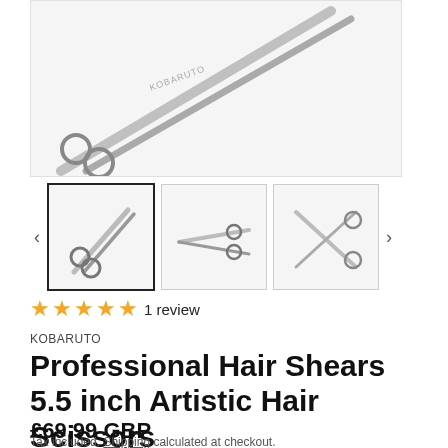[Figure (photo): Main product image of professional hair shears/scissors, metallic silver, diagonal orientation on white/light grey background. Brand text KOBARUTO visible on blade.]
[Figure (photo): Thumbnail 1 (selected, bold border): scissors front-facing with circular finger rings, metallic silver.]
[Figure (photo): Thumbnail 2: scissors side view, open blades, metallic silver.]
[Figure (photo): Thumbnail 3: scissors open X-shape from behind, metallic silver.]
★★★★★ 1 review
KOBARUTO
Professional Hair Shears 5.5 inch Artistic Hair Scissors
£69.99 GBP
Tax included. Shipping calculated at checkout.